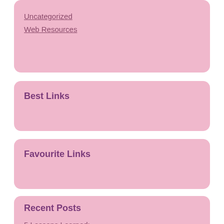Uncategorized
Web Resources
Best Links
Favourite Links
Recent Posts
5 Lessons Learned:
Short Course on – What You Should Know
A Simple Plan: